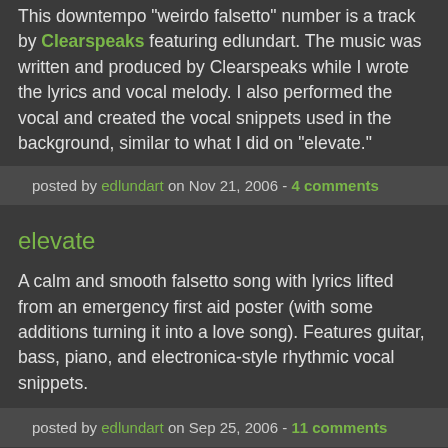This downtempo "weirdo falsetto" number is a track by Clearspeaks featuring edlundart. The music was written and produced by Clearspeaks while I wrote the lyrics and vocal melody. I also performed the vocal and created the vocal snippets used in the background, similar to what I did on "elevate."
posted by edlundart on Nov 21, 2006 - 4 comments
elevate
A calm and smooth falsetto song with lyrics lifted from an emergency first aid poster (with some additions turning it into a love song). Features guitar, bass, piano, and electronica-style rhythmic vocal snippets.
posted by edlundart on Sep 25, 2006 - 11 comments
the long lost light